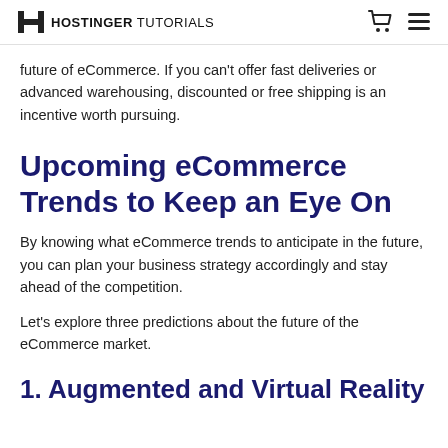HOSTINGER TUTORIALS
future of eCommerce. If you can't offer fast deliveries or advanced warehousing, discounted or free shipping is an incentive worth pursuing.
Upcoming eCommerce Trends to Keep an Eye On
By knowing what eCommerce trends to anticipate in the future, you can plan your business strategy accordingly and stay ahead of the competition.
Let's explore three predictions about the future of the eCommerce market.
1. Augmented and Virtual Reality